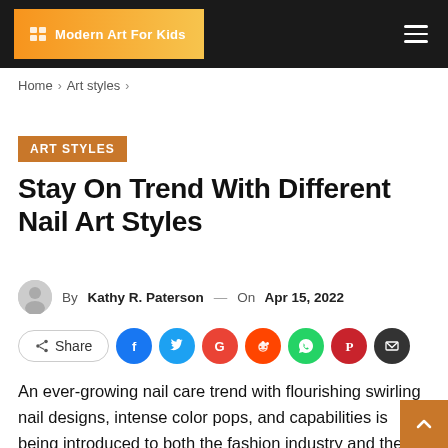Modern Art For Kids
Home > Art styles >
ART STYLES
Stay On Trend With Different Nail Art Styles
By Kathy R. Paterson — On Apr 15, 2022
[Figure (infographic): Share button and social media icons: Facebook, Twitter, Google, Reddit, WhatsApp, Pinterest, Email]
An ever-growing nail care trend with flourishing swirling nail designs, intense color pops, and capabilities is being introduced to both the fashion industry and the beauty world. The changing trend of nail art leaves us amazed with the latest trendy